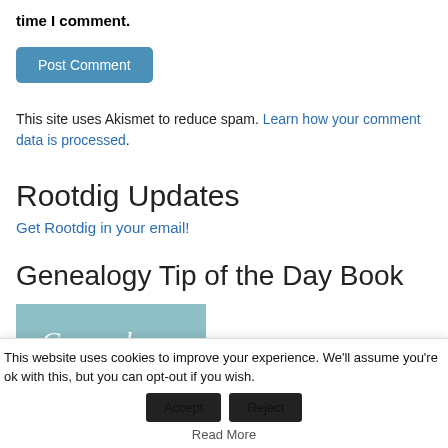time I comment.
Post Comment
This site uses Akismet to reduce spam. Learn how your comment data is processed.
Rootdig Updates
Get Rootdig in your email!
Genealogy Tip of the Day Book
[Figure (illustration): Book cover showing 'Genealogy' text on a teal/blue-green background]
This website uses cookies to improve your experience. We'll assume you're ok with this, but you can opt-out if you wish. Accept Reject Read More